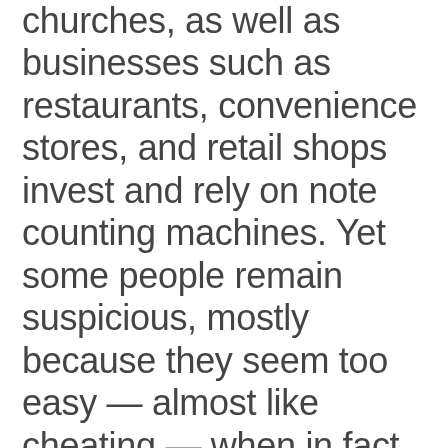churches, as well as businesses such as restaurants, convenience stores, and retail shops invest and rely on note counting machines. Yet some people remain suspicious, mostly because they seem too easy — almost like cheating — when in fact they can eliminate cheating by providing instantaneous accuracy and detecting counterfeit currency.